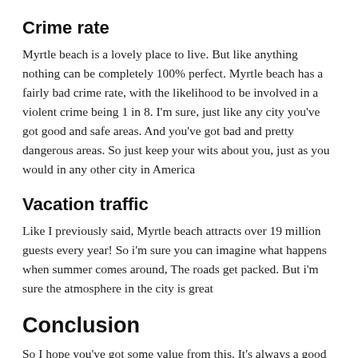Crime rate
Myrtle beach is a lovely place to live. But like anything nothing can be completely 100% perfect. Myrtle beach has a fairly bad crime rate, with the likelihood to be involved in a violent crime being 1 in 8. I'm sure, just like any city you've got good and safe areas. And you've got bad and pretty dangerous areas. So just keep your wits about you, just as you would in any other city in America
Vacation traffic
Like I previously said, Myrtle beach attracts over 19 million guests every year! So i'm sure you can imagine what happens when summer comes around, The roads get packed. But i'm sure the atmosphere in the city is great
Conclusion
So I hope you've got some value from this. It's always a good idea to think of the pros and the cons before making